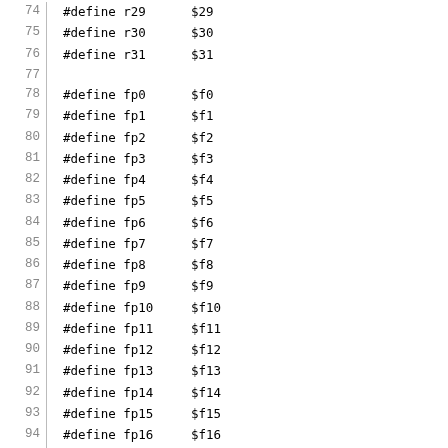74  #define r29      $29
75  #define r30      $30
76  #define r31      $31
77
78  #define fp0      $f0
79  #define fp1      $f1
80  #define fp2      $f2
81  #define fp3      $f3
82  #define fp4      $f4
83  #define fp5      $f5
84  #define fp6      $f6
85  #define fp7      $f7
86  #define fp8      $f8
87  #define fp9      $f9
88  #define fp10     $f10
89  #define fp11     $f11
90  #define fp12     $f12
91  #define fp13     $f13
92  #define fp14     $f14
93  #define fp15     $f15
94  #define fp16     $f16
95  #define fp17     $f17
96  #define fp18     $f18
97  #define fp19     $f19
98  #define fp20     $f20
99  #define fp21     $f21
100 #define fp22     $f22
101 #define fp23     $f23
102 #define fp24     $f24
103 #define fp25     $f25